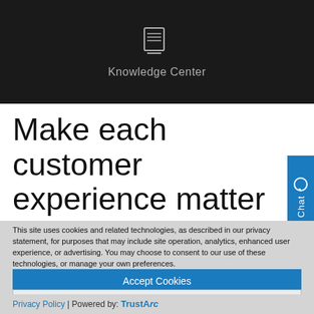[Figure (screenshot): Dark header bar with book/knowledge center icon]
Knowledge Center
Make each customer experience matter
[Figure (screenshot): Chat tab button on right side with speech bubble icon and vertical 'Chat' text]
This site uses cookies and related technologies, as described in our privacy statement, for purposes that may include site operation, analytics, enhanced user experience, or advertising. You may choose to consent to our use of these technologies, or manage your own preferences.
Accept Cookies
More Information
Privacy Policy | Powered by: TrustArc